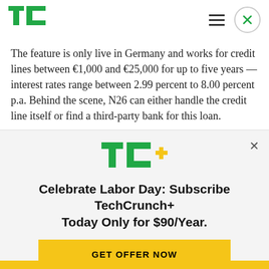TechCrunch logo, hamburger menu, close button
The feature is only live in Germany and works for credit lines between €1,000 and €25,000 for up to five years — interest rates range between 2.99 percent to 8.00 percent p.a. Behind the scene, N26 can either handle the credit line itself or find a third-party bank for this loan.
[Figure (logo): TC+ logo with green TC and yellow plus sign]
Celebrate Labor Day: Subscribe TechCrunch+ Today Only for $90/Year.
GET OFFER NOW